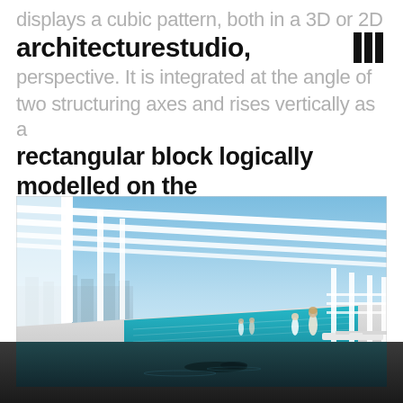displays a cubic pattern, both in a 3D or 2D perspective. It is integrated at the angle of two structuring axes and rises vertically as a rectangular block logically modelled on the square plane of the intersection.
architecturestudio,
[Figure (photo): Architectural rendering of a rooftop infinity pool with white structural columns and pergola-style roof, overlooking a city skyline under a blue sky. People are visible near the pool and lounge chairs.]
[Figure (photo): Dark lower portion showing an underwater or dark water scene, part of the same architectural rendering.]